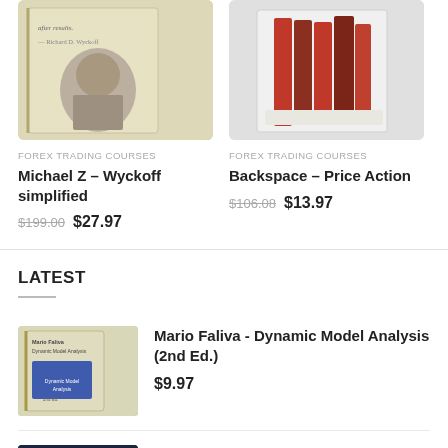[Figure (photo): Book cover for Michael Z Wyckoff simplified course]
FOREX TRADING COURSES
Michael Z – Wyckoff simplified
$199.00  $27.97
[Figure (photo): Book set for Backspace Price Action course]
FOREX TRADING COURSES
Backspace – Price Action
$106.08  $13.97
LATEST
[Figure (photo): Thumbnail of book cover: Mario Faliva Dynamic Model Analysis]
Mario Faliva - Dynamic Model Analysis (2nd Ed.)
$9.97
[Figure (photo): Thumbnail of Toptradetools Trend Breakout Levels book cover with TBL logo]
Toptradetools - Trend Breakout Levels
$197.00  $28.97